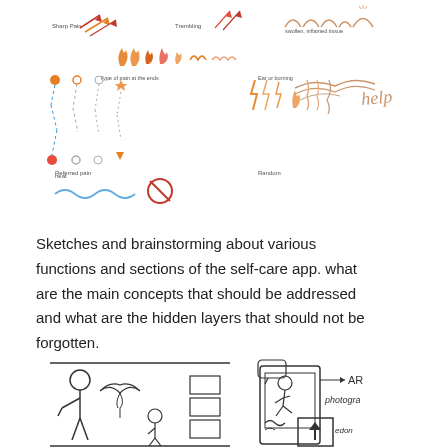[Figure (illustration): Hand-drawn sketches and brainstorming icons showing various fire/pain/movement symbols, path lines, lightning bolts, wave forms, and body sensation icons arranged in rows with small labels like 'Sharp Pain', 'Trembling', 'Type of pain at the ends', 'Ear or burning', 'Referred pain', 'Random', 'Rest', arranged in a grid pattern with colored (orange, red, blue) illustrations]
Sketches and brainstorming about various functions and sections of the self-care app. what are the main concepts that should be addressed and what are the hidden layers that should not be forgotten.
[Figure (illustration): Two hand-drawn sketches of app screen wireframes. Left: a stick figure person standing next to a screen mockup showing a bird/wing icon and three square boxes stacked vertically. Right: a phone wireframe showing a stick figure person in motion, a speech bubble at top, an arrow pointing right with label 'AR', text 'photogra' on the side, a wavy line section at bottom with an upward arrow button, and 'edon' text.]